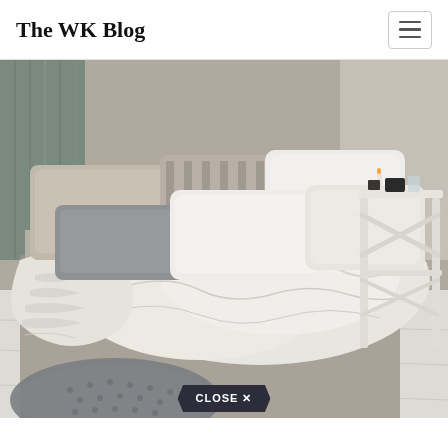The WK Blog
[Figure (photo): A bedroom scene with a low bed covered in rumpled white and beige linen bedding, multiple pillows in white, grey, and natural linen tones, a chunky knit throw draped over the left side, a grey shaggy rug on a white painted wood floor, and a white ladder-style side table on the right with a candle and small items on top. The headboard area features rustic wooden planks.]